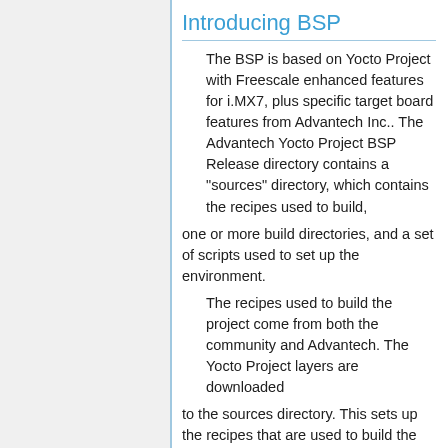Introducing BSP
The BSP is based on Yocto Project with Freescale enhanced features for i.MX7, plus specific target board features from Advantech Inc.. The Advantech Yocto Project BSP Release directory contains a "sources" directory, which contains the recipes used to build,
one or more build directories, and a set of scripts used to set up the environment.
The recipes used to build the project come from both the community and Advantech. The Yocto Project layers are downloaded
to the sources directory. This sets up the recipes that are used to build the project.